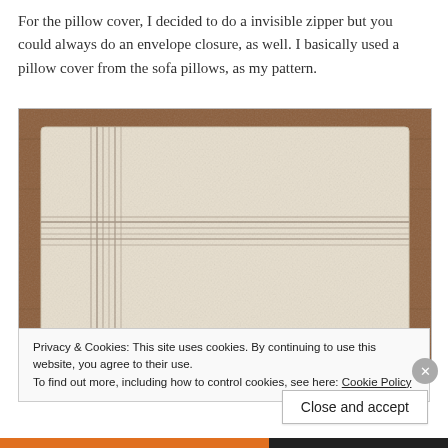For the pillow cover, I decided to do a invisible zipper but you could always do an envelope closure, as well. I basically used a pillow cover from the sofa pillows, as my pattern.
[Figure (photo): A cream/off-white pillow cover laid flat on a brown wooden surface. The fabric has a linen texture with gray/taupe horizontal and vertical stripes forming a grid pattern in the center and along the left edge.]
Privacy & Cookies: This site uses cookies. By continuing to use this website, you agree to their use.
To find out more, including how to control cookies, see here: Cookie Policy
Close and accept